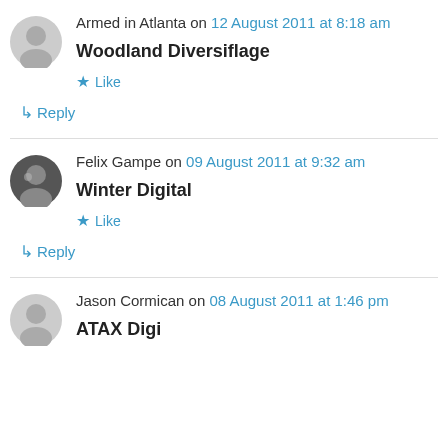Armed in Atlanta on 12 August 2011 at 8:18 am
Woodland Diversiflage
★ Like
↳ Reply
Felix Gampe on 09 August 2011 at 9:32 am
Winter Digital
★ Like
↳ Reply
Jason Cormican on 08 August 2011 at 1:46 pm
ATAX Digi